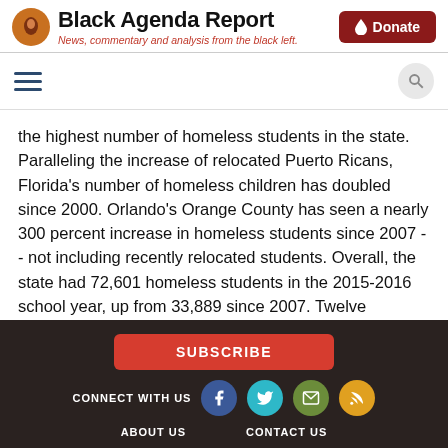Black Agenda Report — News, commentary and analysis from the black left.
the highest number of homeless students in the state. Paralleling the increase of relocated Puerto Ricans, Florida's number of homeless children has doubled since 2000. Orlando's Orange County has seen a nearly 300 percent increase in homeless students since 2007 -- not including recently relocated students. Overall, the state had 72,601 homeless students in the 2015-2016 school year, up from 33,889 since 2007. Twelve thousand of these students are in central Florida. Since the study highlights a strong link between homelessness and poor grades, permanent low-
SUBSCRIBE | CONNECT WITH US | ABOUT US | CONTACT US